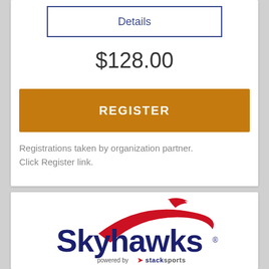Details
$128.00
REGISTER
Registrations taken by organization partner. Click Register link.
[Figure (logo): Skyhawks powered by Stack Sports logo — red swoosh above bold dark blue 'Skyhawks' text with 'powered by stack sports' tagline below]